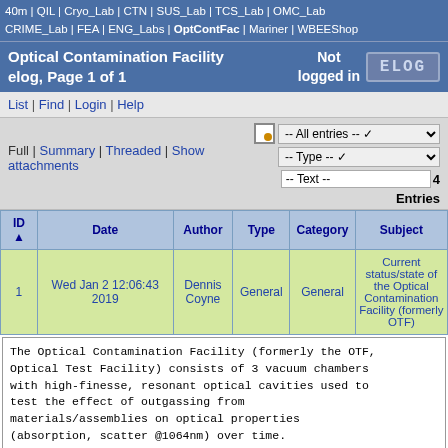40m | QIL | Cryo_Lab | CTN | SUS_Lab | TCS_Lab | OMC_Lab | CRIME_Lab | FEA | ENG_Labs | OptContFac | Mariner | WBEEShop
Optical Contamination Facility elog, Page 1 of 1   Not logged in   ELOG
List | Find | Login | Help
Full | Summary | Threaded | Show attachments   -- All entries --  -- Type --  -- Text --   4 Entries
| ID ▲ | Date | Author | Type | Category | Subject |
| --- | --- | --- | --- | --- | --- |
| 1 | Wed Jan 2 12:06:43 2019 | Dennis Coyne | General | General | Current status/state of the Optical Contamination Facility (formerly OTF) |
The Optical Contamination Facility (formerly the OTF, Optical Test Facility) consists of 3 vacuum chambers with high-finesse, resonant optical cavities used to test the effect of outgassing from materials/assemblies on optical properties (absorption, scatter @1064nm) over time.

basic description: P990032